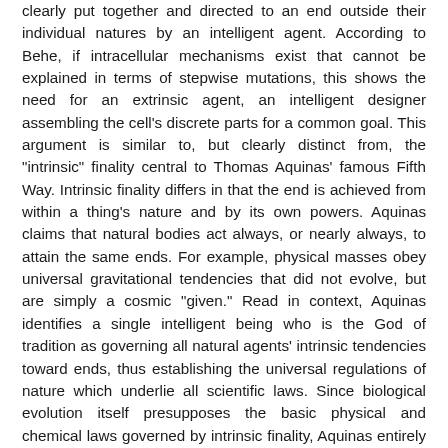clearly put together and directed to an end outside their individual natures by an intelligent agent. According to Behe, if intracellular mechanisms exist that cannot be explained in terms of stepwise mutations, this shows the need for an extrinsic agent, an intelligent designer assembling the cell's discrete parts for a common goal. This argument is similar to, but clearly distinct from, the "intrinsic" finality central to Thomas Aquinas' famous Fifth Way. Intrinsic finality differs in that the end is achieved from within a thing's nature and by its own powers. Aquinas claims that natural bodies act always, or nearly always, to attain the same ends. For example, physical masses obey universal gravitational tendencies that did not evolve, but are simply a cosmic "given." Read in context, Aquinas identifies a single intelligent being who is the God of tradition as governing all natural agents' intrinsic tendencies toward ends, thus establishing the universal regulations of nature which underlie all scientific laws. Since biological evolution itself presupposes the basic physical and chemical laws governed by intrinsic finality, Aquinas entirely escapes the criticisms lodged against extrinsic finality as employed in 'Darwin's Black Box.'"